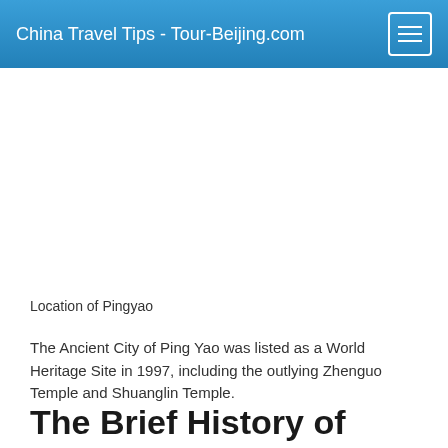China Travel Tips - Tour-Beijing.com
Location of Pingyao
The Ancient City of Ping Yao was listed as a World Heritage Site in 1997, including the outlying Zhenguo Temple and Shuanglin Temple.
The Brief History of Pingyao Ancient City